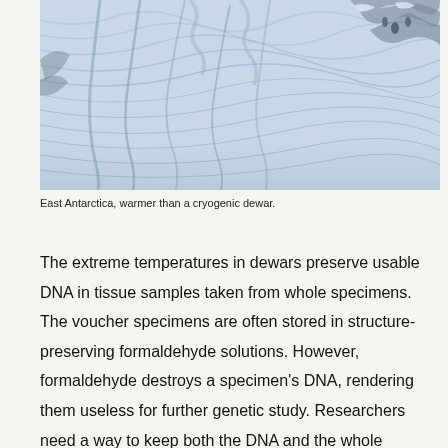[Figure (photo): Aerial photograph of East Antarctica showing snow and ice patterns with ridged glacier formations and rocky outcroppings]
East Antarctica, warmer than a cryogenic dewar.
The extreme temperatures in dewars preserve usable DNA in tissue samples taken from whole specimens. The voucher specimens are often stored in structure-preserving formaldehyde solutions. However, formaldehyde destroys a specimen's DNA, rendering them useless for further genetic study. Researchers need a way to keep both the DNA and the whole specimen preserved.